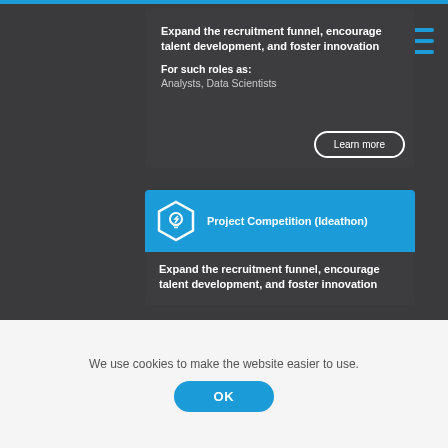Expand the recruitment funnel, encourage talent development, and foster innovation
For such roles as: Analysts, Data Scientists
Learn more
Project Competition (Ideathon)
Expand the recruitment funnel, encourage talent development, and foster innovation
We use cookies to make the website easier to use.
OK